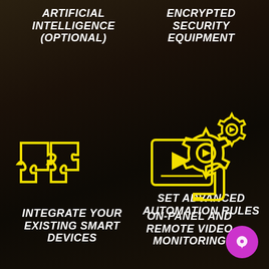ARTIFICIAL INTELLIGENCE (OPTIONAL)
ENCRYPTED SECURITY EQUIPMENT
[Figure (illustration): Two yellow gear/cog icons with a play button inside the larger gear — representing automation settings]
SET ADVANCED AUTOMATION RULES
[Figure (illustration): Yellow puzzle pieces icon representing integration of smart devices]
[Figure (illustration): Yellow tablet/panel with play button and a hand holding it — representing on-panel and remote video monitoring]
INTEGRATE YOUR EXISTING SMART DEVICES
ON-PANEL AND REMOTE VIDEO MONITORING